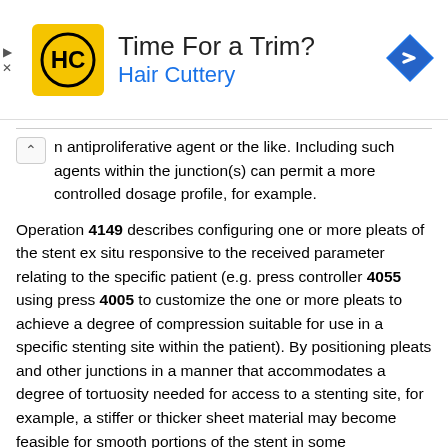[Figure (other): Advertisement banner for Hair Cuttery with logo, tagline 'Time For a Trim?' and navigation icon]
n antiproliferative agent or the like. Including such agents within the junction(s) can permit a more controlled dosage profile, for example.
Operation 4149 describes configuring one or more pleats of the stent ex situ responsive to the received parameter relating to the specific patient (e.g. press controller 4055 using press 4005 to customize the one or more pleats to achieve a degree of compression suitable for use in a specific stenting site within the patient). By positioning pleats and other junctions in a manner that accommodates a degree of tortuosity needed for access to a stenting site, for example, a stiffer or thicker sheet material may become feasible for smooth portions of the stent in some implementations. Those skilled in the art will recognize that other advantages can be achieved by other modes of customization, in light of teachings herein, without undue experimentation.
Operation 4153 describes generating at least one variant of the stent in response to the received parameter relating to the specific patient (e.g. second stent printer 4022 generating two or more stents of different sizes or compositions). In some embodiments the stents differ in only one or two